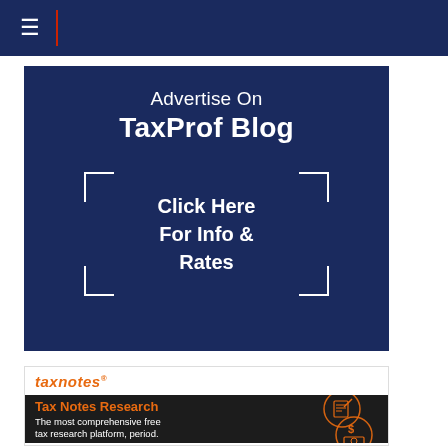≡ | [nav bar]
[Figure (infographic): Dark navy blue advertisement banner for TaxProf Blog. Text: 'Advertise On TaxProf Blog' with a bracket-framed box containing 'Click Here For Info & Rates']
[Figure (infographic): Tax Notes advertisement banner. Logo: 'taxnotes' in orange. Dark background section with orange text 'Tax Notes Research' and white text 'The most comprehensive free tax research platform, period.' with decorative document/stamp icons.]